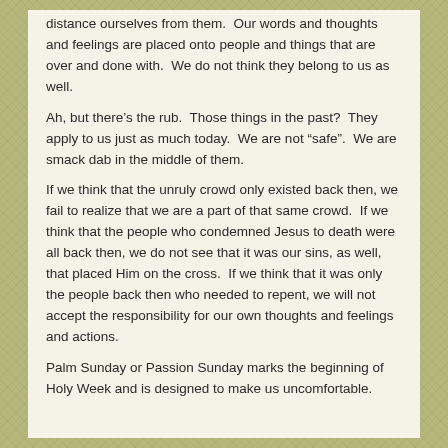distance ourselves from them.  Our words and thoughts and feelings are placed onto people and things that are over and done with.  We do not think they belong to us as well.
Ah, but there’s the rub.  Those things in the past?  They apply to us just as much today.  We are not “safe”.  We are smack dab in the middle of them.
If we think that the unruly crowd only existed back then, we fail to realize that we are a part of that same crowd.  If we think that the people who condemned Jesus to death were all back then, we do not see that it was our sins, as well, that placed Him on the cross.  If we think that it was only the people back then who needed to repent, we will not accept the responsibility for our own thoughts and feelings and actions.
Palm Sunday or Passion Sunday marks the beginning of Holy Week and is designed to make us uncomfortable.